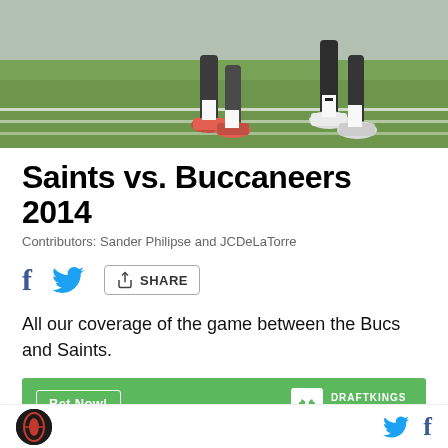[Figure (photo): Action photo of NFL players running on a football field, showing legs and cleats of players in red/orange and black uniforms on green turf with white yard lines]
Saints vs. Buccaneers 2014
Contributors: Sander Philipse and JCDeLaTorre
SHARE
All our coverage of the game between the Bucs and Saints.
Bet Now! DRAFTKINGS SPORTSBOOK
| Mike Evans |